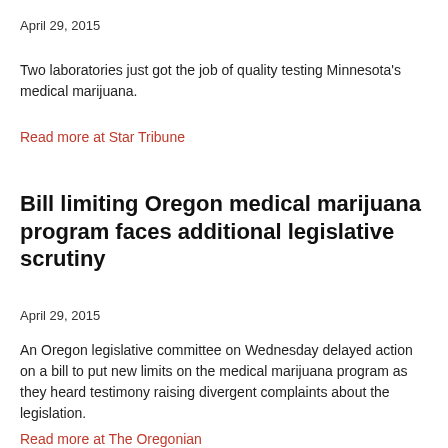April 29, 2015
Two laboratories just got the job of quality testing Minnesota's medical marijuana.
Read more at Star Tribune
Bill limiting Oregon medical marijuana program faces additional legislative scrutiny
April 29, 2015
An Oregon legislative committee on Wednesday delayed action on a bill to put new limits on the medical marijuana program as they heard testimony raising divergent complaints about the legislation.
Read more at The Oregonian